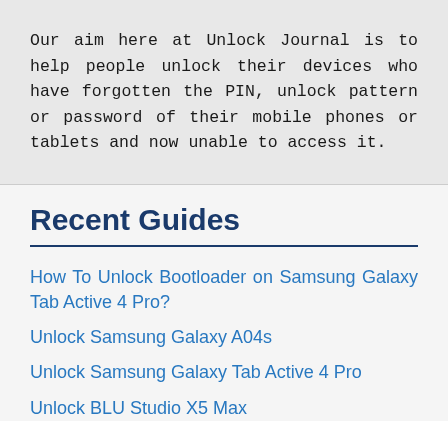Our aim here at Unlock Journal is to help people unlock their devices who have forgotten the PIN, unlock pattern or password of their mobile phones or tablets and now unable to access it.
Recent Guides
How To Unlock Bootloader on Samsung Galaxy Tab Active 4 Pro?
Unlock Samsung Galaxy A04s
Unlock Samsung Galaxy Tab Active 4 Pro
Unlock BLU Studio X5 Max